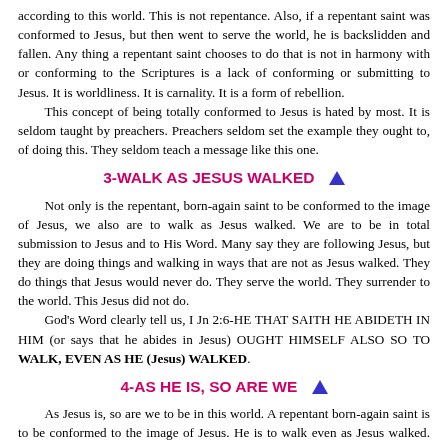according to this world. This is not repentance. Also, if a repentant saint was conformed to Jesus, but then went to serve the world, he is backslidden and fallen. Any thing a repentant saint chooses to do that is not in harmony with or conforming to the Scriptures is a lack of conforming or submitting to Jesus. It is worldliness. It is carnality. It is a form of rebellion.
	This concept of being totally conformed to Jesus is hated by most. It is seldom taught by preachers. Preachers seldom set the example they ought to, of doing this. They seldom teach a message like this one.
3-WALK AS JESUS WALKED
Not only is the repentant, born-again saint to be conformed to the image of Jesus, we also are to walk as Jesus walked. We are to be in total submission to Jesus and to His Word. Many say they are following Jesus, but they are doing things and walking in ways that are not as Jesus walked. They do things that Jesus would never do. They serve the world. They surrender to the world. This Jesus did not do.
	God's Word clearly tell us, I Jn 2:6-HE THAT SAITH HE ABIDETH IN HIM (or says that he abides in Jesus) OUGHT HIMSELF ALSO SO TO WALK, EVEN AS HE (Jesus) WALKED.
4-AS HE IS, SO ARE WE
As Jesus is, so are we to be in this world. A repentant born-again saint is to be conformed to the image of Jesus. He is to walk even as Jesus walked. As Jesus is, so is the repentant saint in this world.
	It is written, I Jn 4:17-HEREIN IS OUR LOVE MADE PERFECT, THAT WE MAY HAVE BOLDNESS IN THE DAY OF JUDGMENT: BECAUSE AS HE IS